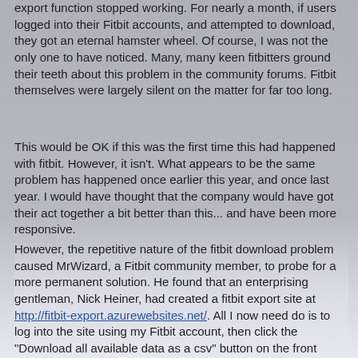export function stopped working. For nearly a month, if users logged into their Fitbit accounts, and attempted to download, they got an eternal hamster wheel. Of course, I was not the only one to have noticed. Many, many keen fitbitters ground their teeth about this problem in the community forums. Fitbit themselves were largely silent on the matter for far too long.
This would be OK if this was the first time this had happened with fitbit. However, it isn't. What appears to be the same problem has happened once earlier this year, and once last year. I would have thought that the company would have got their act together a bit better than this... and have been more responsive.
However, the repetitive nature of the fitbit download problem caused MrWizard, a Fitbit community member, to probe for a more permanent solution. He found that an enterprising gentleman, Nick Heiner, had created a fitbit export site at http://fitbit-export.azurewebsites.net/. All I now need do is to log into the site using my Fitbit account, then click the "Download all available data as a csv" button on the front page.